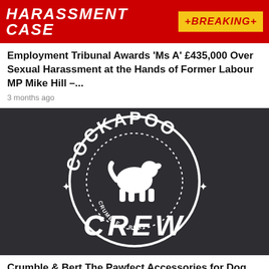[Figure (photo): Red breaking news banner with 'HARASSMENT CASE' text on left in white italic bold font, and '+BREAKING+' yellow badge on right, person visible in background]
Employment Tribunal Awards ‘Ms A’ £435,000 Over Sexual Harassment at the Hands of Former Labour MP Mike Hill –...
3 months ago
[Figure (logo): Cockapoo Crew logo by Crumble & Bert on dark navy/grey fabric background. Circular badge design with dog silhouette in center, dotted inner circle, stars on sides, bold distressed white text reading COCKAPOO at top and CREW at bottom, CRUMBLE & BERT text along inner dotted ring]
Crumble & Bert The Pawfect Accessories for Dog Lovers
3 months ago
[Figure (photo): Partial image of green/nature scene at bottom of page, cropped]